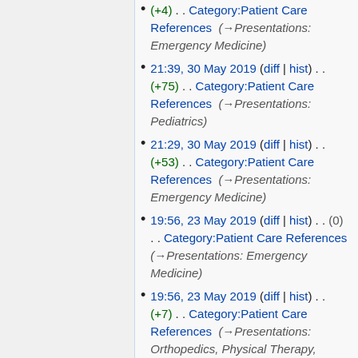(+4) . . Category:Patient Care References (→Presentations: Emergency Medicine)
21:39, 30 May 2019 (diff | hist) . . (+75) . . Category:Patient Care References (→Presentations: Pediatrics)
21:29, 30 May 2019 (diff | hist) . . (+53) . . Category:Patient Care References (→Presentations: Emergency Medicine)
19:56, 23 May 2019 (diff | hist) . . (0) . . Category:Patient Care References (→Presentations: Emergency Medicine)
19:56, 23 May 2019 (diff | hist) . . (+7) . . Category:Patient Care References (→Presentations: Orthopedics, Physical Therapy, Podaitry & Wound Care)